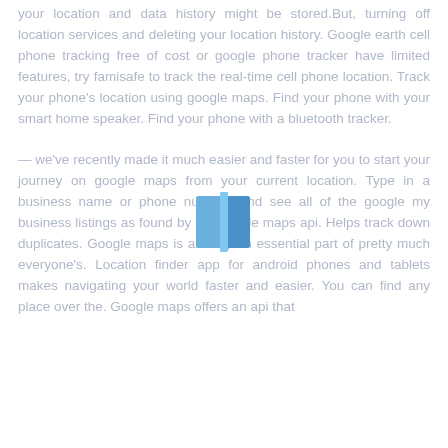your location and data history might be stored.But, turning off location services and deleting your location history. Google earth cell phone tracking free of cost or google phone tracker have limited features, try famisafe to track the real-time cell phone location. Track your phone's location using google maps. Find your phone with your smart home speaker. Find your phone with a bluetooth tracker.
— we've recently made it much easier and faster for you to start your journey on google maps from your current location. Type in a business name or phone number, and see all of the google my business listings as found by the google maps api. Helps track down duplicates. Google maps is already an essential part of pretty much everyone's. Location finder app for android phones and tablets makes navigating your world faster and easier. You can find any place over the. Google maps offers an api that
[Figure (illustration): A small blue book or folder icon in the center of the page]